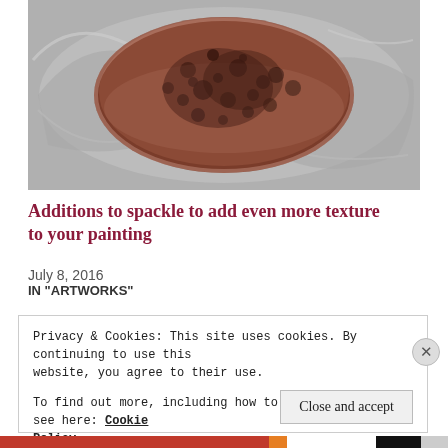[Figure (photo): Close-up photograph of a rough, porous reddish-brown rock or stone object surrounded by a silvery-grey textured background with swirling metallic-looking material.]
Additions to spackle to add even more texture to your painting
July 8, 2016
IN "ARTWORKS"
Privacy & Cookies: This site uses cookies. By continuing to use this website, you agree to their use.
To find out more, including how to control cookies, see here: Cookie Policy